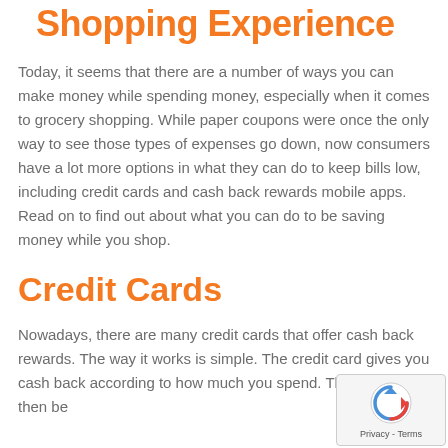Shopping Experience
Today, it seems that there are a number of ways you can make money while spending money, especially when it comes to grocery shopping. While paper coupons were once the only way to see those types of expenses go down, now consumers have a lot more options in what they can do to keep bills low, including credit cards and cash back rewards mobile apps.  Read on to find out about what you can do to be saving money while you shop.
Credit Cards
Nowadays, there are many credit cards that offer cash back rewards.  The way it works is simple. The credit card gives you cash back according to how much you spend.  The “cash” can then be